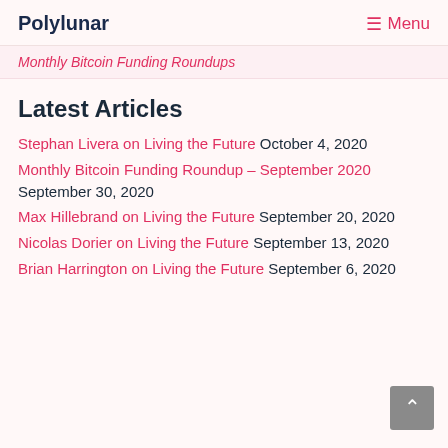Polylunar  ☰ Menu
Monthly Bitcoin Funding Roundups
Latest Articles
Stephan Livera on Living the Future  October 4, 2020
Monthly Bitcoin Funding Roundup – September 2020  September 30, 2020
Max Hillebrand on Living the Future  September 20, 2020
Nicolas Dorier on Living the Future  September 13, 2020
Brian Harrington on Living the Future  September 6, 2020